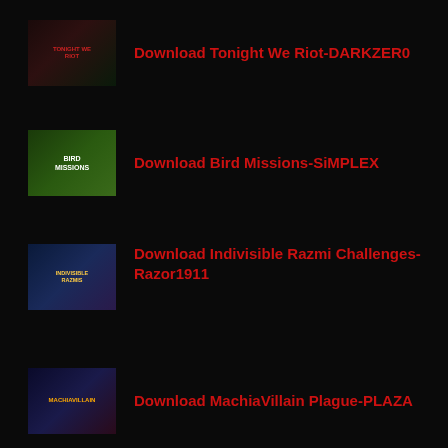Download Tonight We Riot-DARKZER0
Download Bird Missions-SiMPLEX
Download Indivisible Razmi Challenges-Razor1911
Download MachiaVillain Plague-PLAZA